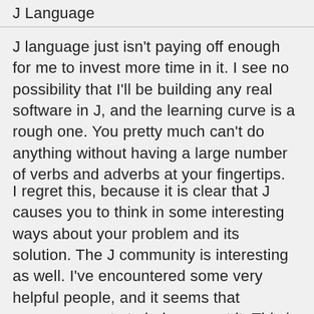J Language
J language just isn't paying off enough for me to invest more time in it. I see no possibility that I'll be building any real software in J, and the learning curve is a rough one. You pretty much can't do anything without having a large number of verbs and adverbs at your fingertips.
I regret this, because it is clear that J causes you to think in some interesting ways about your problem and its solution. The J community is interesting as well. I've encountered some very helpful people, and it seems that everyone wants to help you get it. This is great. Perhaps one day